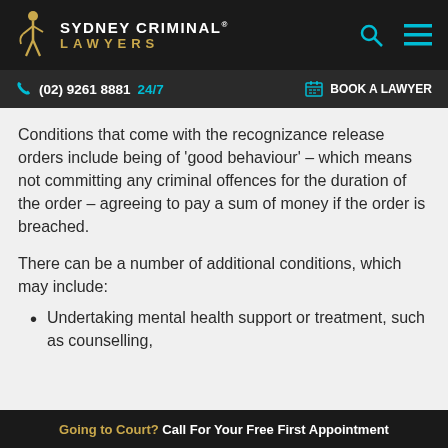SYDNEY CRIMINAL® LAWYERS
(02) 9261 8881 24/7  BOOK A LAWYER
Conditions that come with the recognizance release orders include being of 'good behaviour' – which means not committing any criminal offences for the duration of the order – agreeing to pay a sum of money if the order is breached.
There can be a number of additional conditions, which may include:
Undertaking mental health support or treatment, such as counselling,
Going to Court? Call For Your Free First Appointment